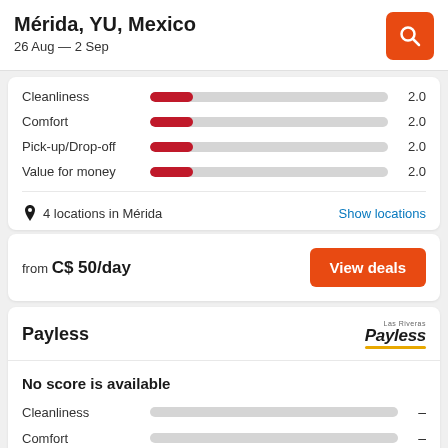Mérida, YU, Mexico
26 Aug — 2 Sep
Cleanliness 2.0
Comfort 2.0
Pick-up/Drop-off 2.0
Value for money 2.0
4 locations in Mérida
Show locations
from C$ 50/day
View deals
Payless
No score is available
Cleanliness –
Comfort –